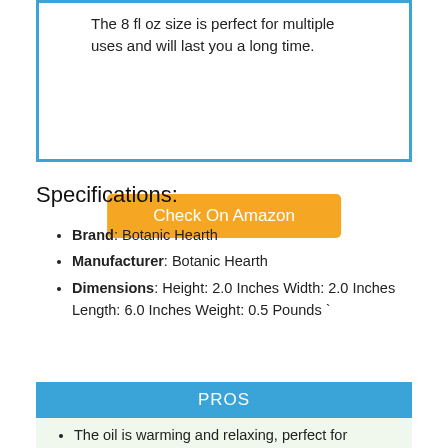The 8 fl oz size is perfect for multiple uses and will last you a long time.
Check On Amazon
Specifications:
Brand: Botanic Hearth
Manufacturer: Botanic Hearth
Dimensions: Height: 2.0 Inches Width: 2.0 Inches Length: 6.0 Inches Weight: 0.5 Pounds `
PROS
The oil is warming and relaxing, perfect for